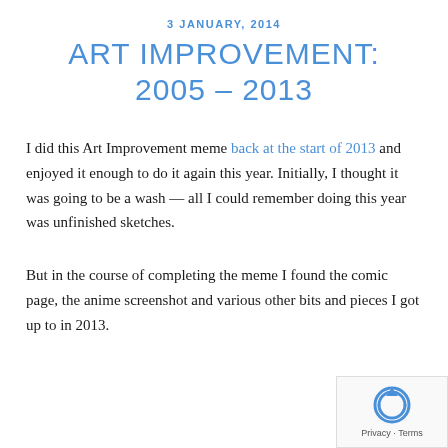3 JANUARY, 2014
ART IMPROVEMENT: 2005 – 2013
I did this Art Improvement meme back at the start of 2013 and enjoyed it enough to do it again this year. Initially, I thought it was going to be a wash — all I could remember doing this year was unfinished sketches.
But in the course of completing the meme I found the comic page, the anime screenshot and various other bits and pieces I got up to in 2013.
[Figure (logo): reCAPTCHA badge with privacy and terms link]